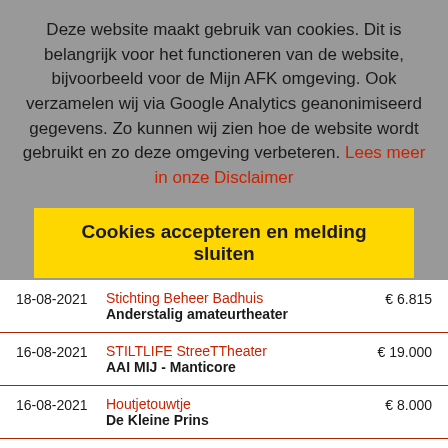Deze website maakt gebruik van cookies. Dit is belangrijk voor het functioneren van de website, bijvoorbeeld voor de Mijn AFK omgeving. Ook verzamelen wij via Google Analytics geanonimiseerd gegevens. Zo kunnen wij zien hoe de website wordt gebruikt en zo deze omgeving verbeteren. Lees meer in onze Disclaimer
Cookies accepteren en melding sluiten
Cookies weigeren
| Datum | Organisatie / Project | Bedrag |
| --- | --- | --- |
| 18-08-2021 | Stichting Beheer Badhuis
Anderstalig amateurtheater | € 6.815 |
| 16-08-2021 | STILTLIFE StreeTTheater
AAI MIJ - Manticore | € 19.000 |
| 16-08-2021 | Houtjetouwtje
De Kleine Prins | € 8.000 |